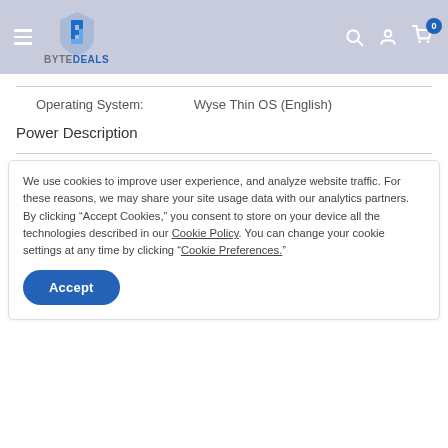ByteDeals navigation header with logo, search, account, and cart icons
| Property | Value |
| --- | --- |
| Operating System: | Wyse Thin OS (English) |
Power Description
We use cookies to improve user experience, and analyze website traffic. For these reasons, we may share your site usage data with our analytics partners. By clicking “Accept Cookies,” you consent to store on your device all the technologies described in our Cookie Policy. You can change your cookie settings at any time by clicking “Cookie Preferences.”